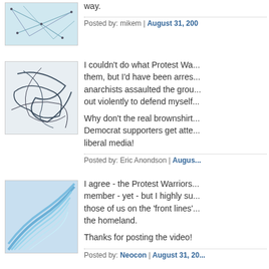way.
Posted by: mikem | August 31, 200...
[Figure (illustration): User avatar - blue abstract network/lines pattern]
I couldn't do what Protest Wa... them, but I'd have been arres... anarchists assaulted the grou... out violently to defend myself...
Why don't the real brownshirt... Democrat supporters get atte... liberal media!
Posted by: Eric Anondson | Augus...
[Figure (illustration): User avatar - blue wave/shell pattern]
I agree - the Protest Warriors... member - yet - but I highly su... those of us on the 'front lines'... the homeland.
Thanks for posting the video!
Posted by: Neocon | August 31, 20...